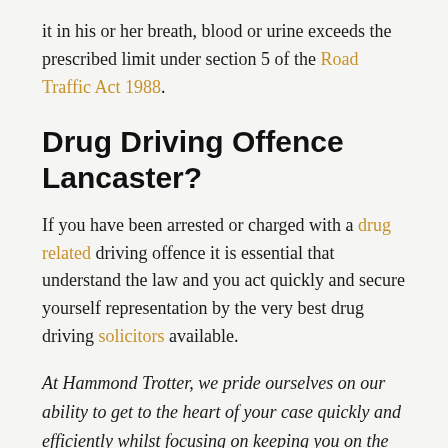it in his or her breath, blood or urine exceeds the prescribed limit under section 5 of the Road Traffic Act 1988.
Drug Driving Offence Lancaster?
If you have been arrested or charged with a drug related driving offence it is essential that understand the law and you act quickly and secure yourself representation by the very best drug driving solicitors available.
At Hammond Trotter, we pride ourselves on our ability to get to the heart of your case quickly and efficiently whilst focusing on keeping you on the road and getting you the